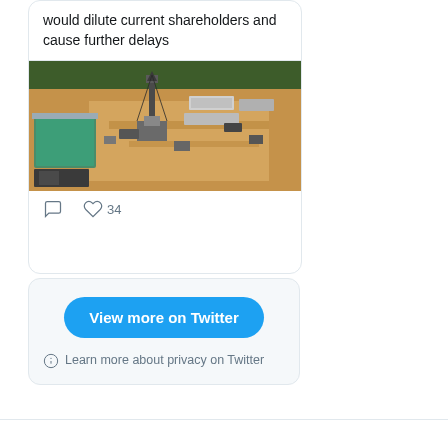would dilute current shareholders and cause further delays
[Figure (photo): Aerial view of a drilling rig site in a dry, arid landscape with a green pond/containment area on the left, surrounded by forest.]
34
View more on Twitter
Learn more about privacy on Twitter